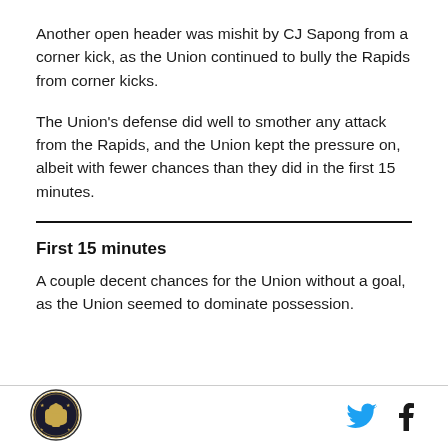Another open header was mishit by CJ Sapong from a corner kick, as the Union continued to bully the Rapids from corner kicks.
The Union's defense did well to smother any attack from the Rapids, and the Union kept the pressure on, albeit with fewer chances than they did in the first 15 minutes.
First 15 minutes
A couple decent chances for the Union without a goal, as the Union seemed to dominate possession.
[Figure (logo): Philadelphia Union circular badge logo]
[Figure (other): Twitter bird icon (blue) and Facebook f icon social share buttons]